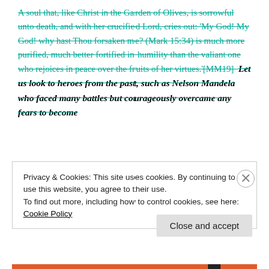A soul that, like Christ in the Garden of Olives, is sorrowful unto death, and with her crucified Lord, cries out: 'My God! My God! why hast Thou forsaken me? (Mark 15:34) is much more purified, much better fortified in humility than the valiant one who rejoices in peace over the fruits of her virtues.'[MM19]  Let us look to heroes from the past, such as Nelson Mandela who faced many battles but courageously overcame any fears to become
Privacy & Cookies: This site uses cookies. By continuing to use this website, you agree to their use.
To find out more, including how to control cookies, see here: Cookie Policy
Close and accept